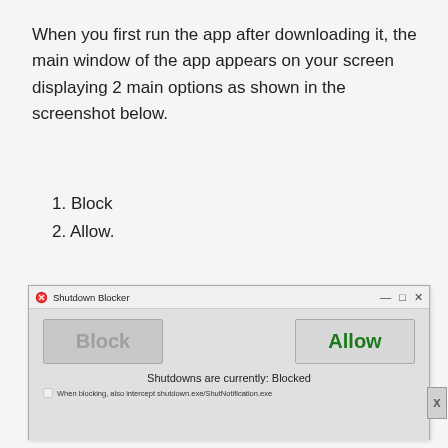When you first run the app after downloading it, the main window of the app appears on your screen displaying 2 main options as shown in the screenshot below.
1. Block
2. Allow.
[Figure (screenshot): Screenshot of the Shutdown Blocker application window showing two buttons: 'Block' (grey, disabled appearance) and 'Allow' (grey with green bold text), with status text 'Shutdowns are currently: Blocked' and a checkbox option 'When blocking, also intercept shutdown.exe/ShutNotification.exe']